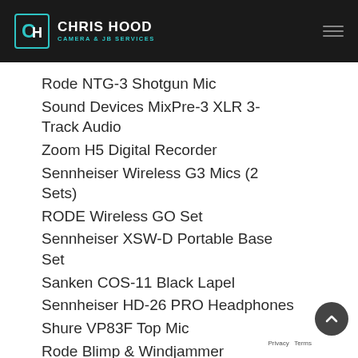CHRIS HOOD CAMERA & JB SERVICES
Rode NTG-3 Shotgun Mic
Sound Devices MixPre-3 XLR 3-Track Audio
Zoom H5 Digital Recorder
Sennheiser Wireless G3 Mics (2 Sets)
RODE Wireless GO Set
Sennheiser XSW-D Portable Base Set
Sanken COS-11 Black Lapel
Sennheiser HD-26 PRO Headphones
Shure VP83F Top Mic
Rode Blimp & Windjammer